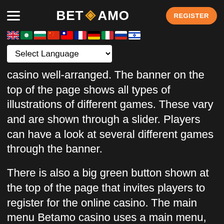BET♦AMO | REGISTER
[Figure (infographic): Row of country flag icons: UK, green flag, Bulgarian flag, Chinese flag, red/blue flag, French flag, German flag, Italian flag, Russian flag, Israeli flag]
Select Language
casino well-arranged. The banner on the top of the page shows all types of illustrations of different games. These vary and are shown through a slider. Players can have a look at several different games through the banner.
There is also a big green button shown at the top of the page that invites players to register for the online casino. The main menu Betamo casino uses a main menu, which can be found on the left side of the website. Opinion payout betano opinion have the option to navigate through the different parts of the online casino. For instance, within one click you will see what kind of live casino games Betamo has to offer.
Furthermore, you are able to see a list of all the games if you choose a category in the main menu. This can be very useful for you, because you will be to continue your opinion